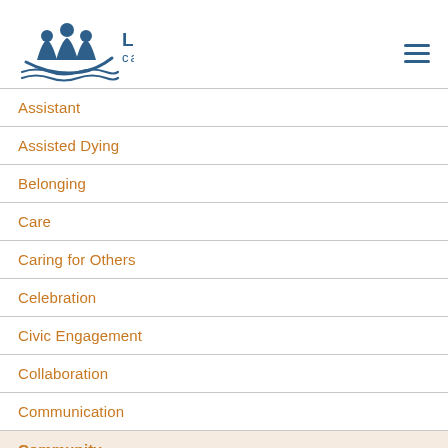[Figure (logo): L'Arche Canada logo with three figures in a boat above waves, beside the text L'ARCHE canada]
Assistant
Assisted Dying
Belonging
Care
Caring for Others
Celebration
Civic Engagement
Collaboration
Communication
Community
Contributions
Core Members
Creativity